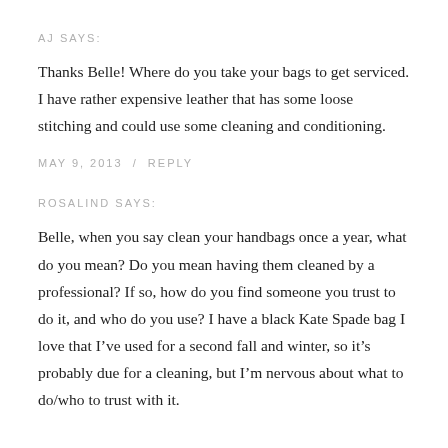AJ SAYS:
Thanks Belle! Where do you take your bags to get serviced. I have rather expensive leather that has some loose stitching and could use some cleaning and conditioning.
MAY 9, 2013  /  REPLY
ROSALIND SAYS:
Belle, when you say clean your handbags once a year, what do you mean? Do you mean having them cleaned by a professional? If so, how do you find someone you trust to do it, and who do you use? I have a black Kate Spade bag I love that I’ve used for a second fall and winter, so it’s probably due for a cleaning, but I’m nervous about what to do/who to trust with it.